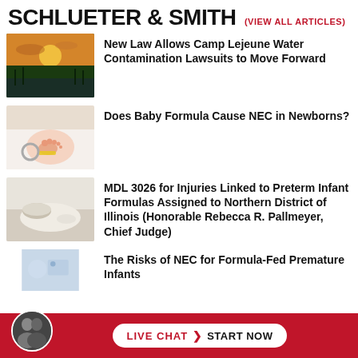SCHLUETER & SMITH (VIEW ALL ARTICLES)
New Law Allows Camp Lejeune Water Contamination Lawsuits to Move Forward
Does Baby Formula Cause NEC in Newborns?
MDL 3026 for Injuries Linked to Preterm Infant Formulas Assigned to Northern District of Illinois (Honorable Rebecca R. Pallmeyer, Chief Judge)
The Risks of NEC for Formula-Fed Premature Infants
LIVE CHAT START NOW